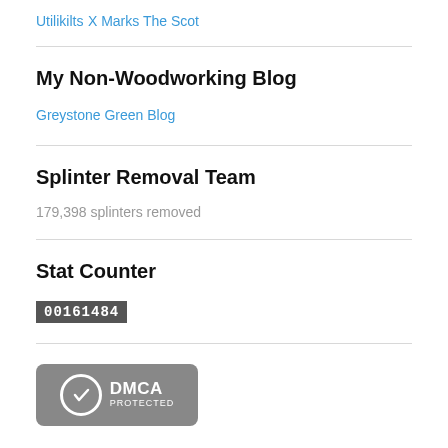Utilikilts
X Marks The Scot
My Non-Woodworking Blog
Greystone Green Blog
Splinter Removal Team
179,398 splinters removed
Stat Counter
00161484
[Figure (logo): DMCA Protected badge with checkmark in circle]